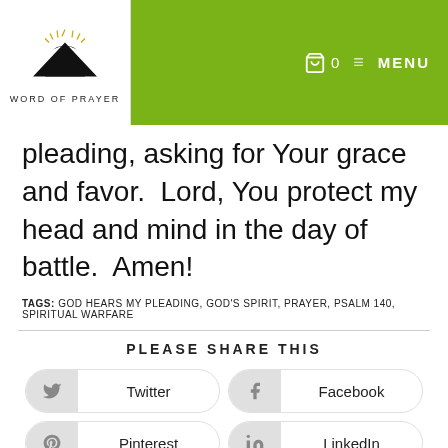WORD OF PRAYER
pleading, asking for Your grace and favor.  Lord, You protect my head and mind in the day of battle.  Amen!
TAGS: GOD HEARS MY PLEADING, GOD'S SPIRIT, PRAYER, PSALM 140, SPIRITUAL WARFARE
PLEASE SHARE THIS
Twitter
Facebook
Pinterest
LinkedIn